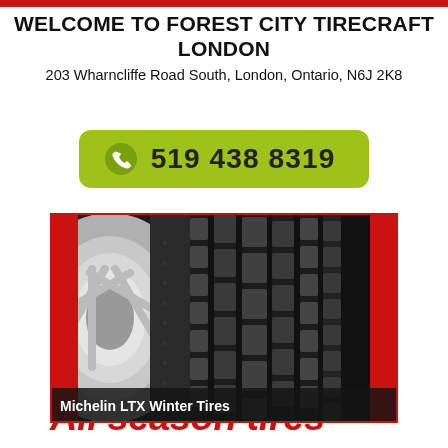WELCOME TO FOREST CITY TIRECRAFT LONDON
203 Wharncliffe Road South, London, Ontario, N6J 2K8
519 438 8319
[Figure (photo): Close-up photograph of a Michelin LTX Winter tire tread and sidewall, with red side bars, bordered in red.]
Michelin LTX Winter Tires
All season tires